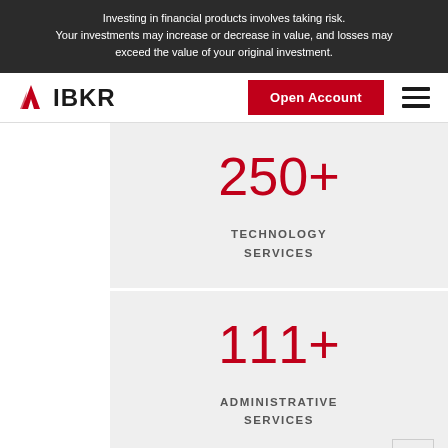Investing in financial products involves taking risk. Your investments may increase or decrease in value, and losses may exceed the value of your original investment.
[Figure (logo): IBKR (Interactive Brokers) logo with red chevron/spark icon and bold IBKR text. Navigation bar with Open Account button and hamburger menu.]
250+
TECHNOLOGY SERVICES
111+
ADMINISTRATIVE SERVICES